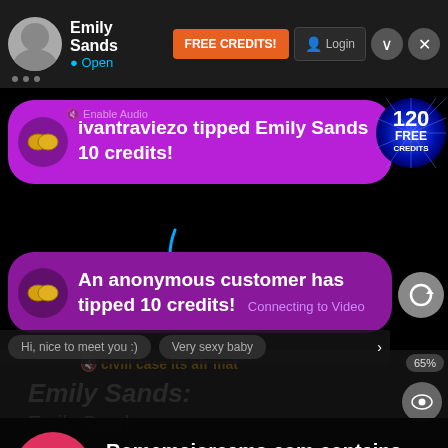Emily Sands • Open | FREE CREDITS! | Login
ivantraviezo tipped Emily Sands 10 credits!
An anonymous customer has tipped 10 credits!  Connecting to Video
Romemajorcams.com contains adult content
By using the site, you acknowledge you have read our Privacy Policy, and agree to our Terms and Conditions.
We use cookies to optimize your experience, analyze traffic, and deliver more personalized service. To learn more, please see our Privacy Policy.
I AGREE